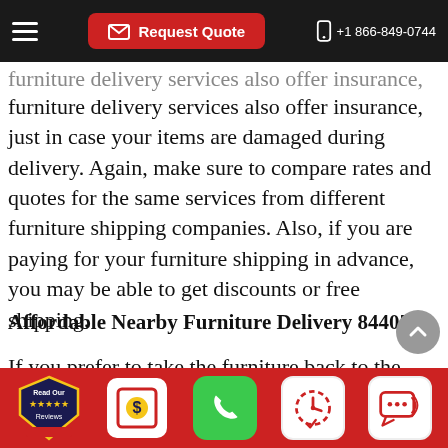Request Quote  +1 866-849-0744
furniture delivery services also offer insurance, just in case your items are damaged during delivery. Again, make sure to compare rates and quotes for the same services from different furniture shipping companies. Also, if you are paying for your furniture shipping in advance, you may be able to get discounts or free shipping.
Affordable Nearby Furniture Delivery 84405
If you prefer to take the furniture back to the
[Figure (other): Bottom navigation bar with icons: Read Our Reviews badge, dollar sign quote icon, green phone icon, clock/schedule icon, chat/message icon]